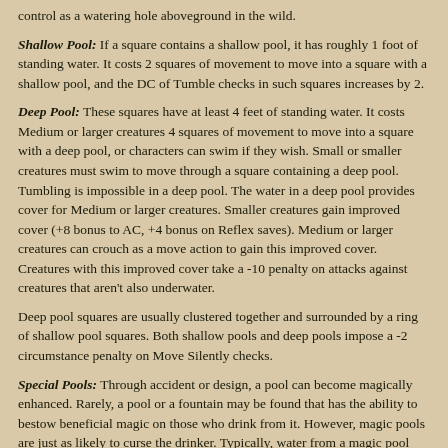control as a watering hole aboveground in the wild.
Shallow Pool: If a square contains a shallow pool, it has roughly 1 foot of standing water. It costs 2 squares of movement to move into a square with a shallow pool, and the DC of Tumble checks in such squares increases by 2.
Deep Pool: These squares have at least 4 feet of standing water. It costs Medium or larger creatures 4 squares of movement to move into a square with a deep pool, or characters can swim if they wish. Small or smaller creatures must swim to move through a square containing a deep pool. Tumbling is impossible in a deep pool. The water in a deep pool provides cover for Medium or larger creatures. Smaller creatures gain improved cover (+8 bonus to AC, +4 bonus on Reflex saves). Medium or larger creatures can crouch as a move action to gain this improved cover. Creatures with this improved cover take a -10 penalty on attacks against creatures that aren't also underwater.
Deep pool squares are usually clustered together and surrounded by a ring of shallow pool squares. Both shallow pools and deep pools impose a -2 circumstance penalty on Move Silently checks.
Special Pools: Through accident or design, a pool can become magically enhanced. Rarely, a pool or a fountain may be found that has the ability to bestow beneficial magic on those who drink from it. However, magic pools are just as likely to curse the drinker. Typically, water from a magic pool loses its potency if removed from the pool for more than an hour or so.
Some pools have fountains. Occasionally these are merely decorative, but they often serve as the focus of a trap or the source of a pool's